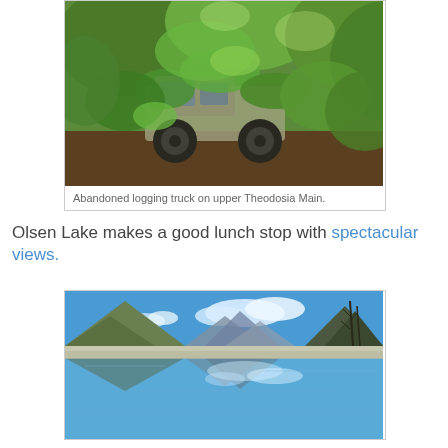[Figure (photo): Photo of an abandoned logging truck overgrown with dense green vegetation and trees, on upper Theodosia Main.]
Abandoned logging truck on upper Theodosia Main.
Olsen Lake makes a good lunch stop with spectacular views.
[Figure (photo): Photo of Olsen Lake with a calm reflective surface, surrounded by mountains and sparse trees under a blue sky with clouds.]